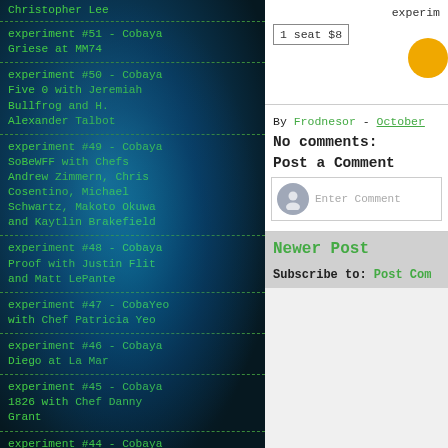Christopher Lee
experiment #51 - Cobaya Griese at MM74
experiment #50 - Cobaya Five 0 with Jeremiah Bullfrog and H. Alexander Talbot
experiment #49 - Cobaya SoBeWFF with Chefs Andrew Zimmern, Chris Cosentino, Michael Schwartz, Makoto Okuwa and Kaytlin Brakefield
experiment #48 - Cobaya Proof with Justin Flit and Matt LePante
experiment #47 - CobaYeo with Chef Patricia Yeo
experiment #46 - Cobaya Diego at La Mar
experiment #45 - Cobaya 1826 with Chef Danny Grant
experiment #44 - Cobaya Meat Market with Chef Sean Brasel
experiment
1 seat $8
By Frodnesor - October
No comments:
Post a Comment
Enter Comment
Newer Post
Subscribe to: Post Com